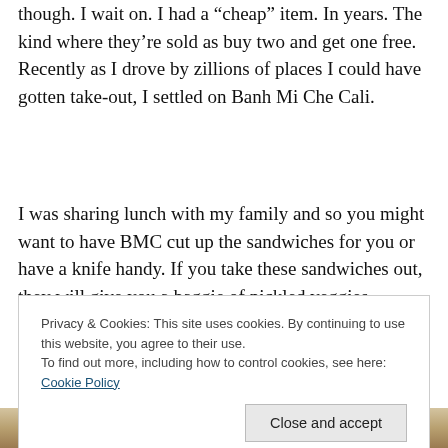though. I wait on. I had a "cheap" item. In years. The kind where they're sold as buy two and get one free. Recently as I drove by zillions of places I could have gotten take-out, I settled on Banh Mi Che Cali.
I was sharing lunch with my family and so you might want to have BMC cut up the sandwiches for you or have a knife handy. If you take these sandwiches out, they will give you a baggie of pickled veggies (carrots and daikon)
Privacy & Cookies: This site uses cookies. By continuing to use this website, you agree to their use.
To find out more, including how to control cookies, see here: Cookie Policy
Close and accept
[Figure (photo): Bottom strip of a food photo, partially visible — appears to show sandwiches or food items with a dipping sauce]